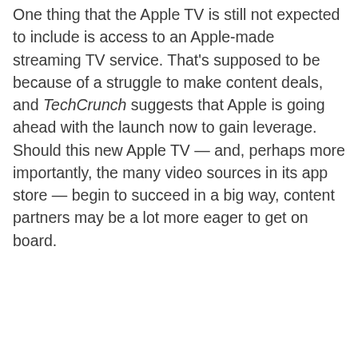One thing that the Apple TV is still not expected to include is access to an Apple-made streaming TV service. That's supposed to be because of a struggle to make content deals, and TechCrunch suggests that Apple is going ahead with the launch now to gain leverage. Should this new Apple TV — and, perhaps more importantly, the many video sources in its app store — begin to succeed in a big way, content partners may be a lot more eager to get on board.